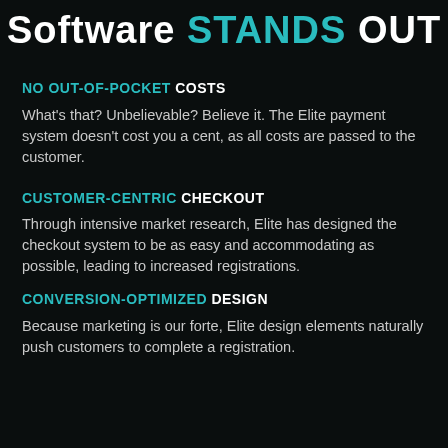Software STANDS OUT
NO OUT-OF-POCKET COSTS
What's that? Unbelievable? Believe it. The Elite payment system doesn't cost you a cent, as all costs are passed to the customer.
CUSTOMER-CENTRIC CHECKOUT
Through intensive market research, Elite has designed the checkout system to be as easy and accommodating as possible, leading to increased registrations.
CONVERSION-OPTIMIZED DESIGN
Because marketing is our forte, Elite design elements naturally push customers to complete a registration.